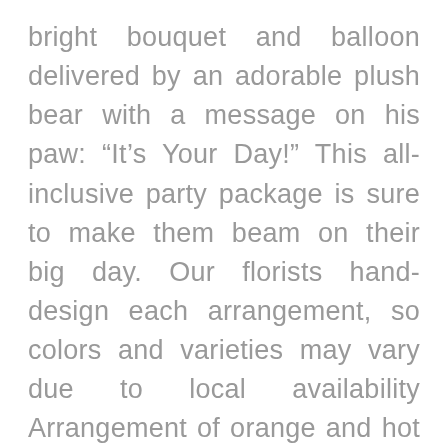bright bouquet and balloon delivered by an adorable plush bear with a message on his paw: “It’s Your Day!” This all-inclusive party package is sure to make them beam on their big day. Our florists hand-design each arrangement, so colors and varieties may vary due to local availability Arrangement of orange and hot pink carnations, red mini carnations, yellow daisy poms, Athos poms, pink waxflower, and variegated pittosporum, artistically designed in a festive ribbed purple container with pink liner; measures 7”H x 6”L Plush cream-colored bear with “It’s Your Day!” embroidered on its paw and a purple flower “Happy Birthday” 6”D